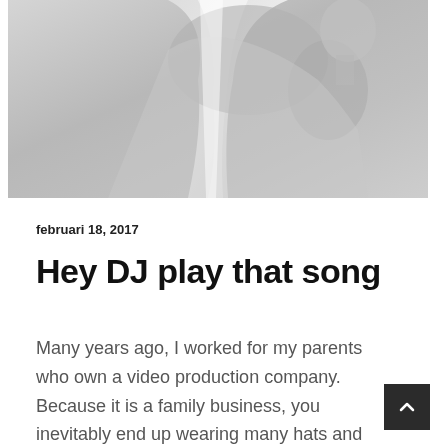[Figure (photo): Black and white photo of a person wearing draped fabric, shown from the back/side, looking sideways]
februari 18, 2017
Hey DJ play that song
Many years ago, I worked for my parents who own a video production company. Because it is a family business, you inevitably end up wearing many hats and being...